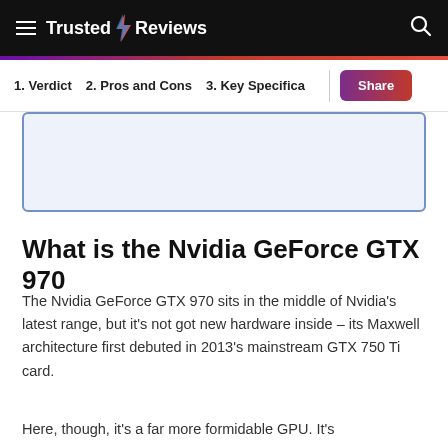Trusted Reviews
1. Verdict   2. Pros and Cons   3. Key Specifica   Share
[Figure (other): Light blue rectangular content placeholder box with blue border]
What is the Nvidia GeForce GTX 970
The Nvidia GeForce GTX 970 sits in the middle of Nvidia's latest range, but it's not got new hardware inside – its Maxwell architecture first debuted in 2013's mainstream GTX 750 Ti card.
Here, though, it's a far more formidable GPU. It's